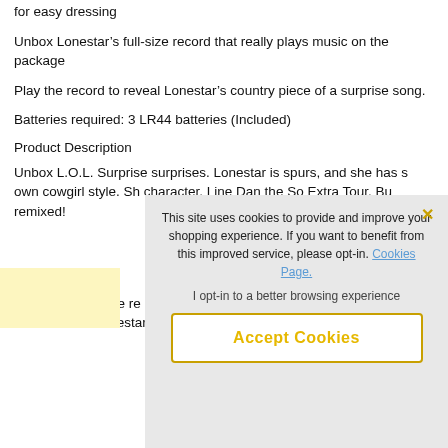for easy dressing
Unbox Lonestar’s full-size record that really plays music on the package
Play the record to reveal Lonestar’s country piece of a surprise song.
Batteries required: 3 LR44 batteries (Included)
Product Description
Unbox L.O.L. Surprise surprises. Lonestar is spurs, and she has s own cowgirl style. Sh character, Line Dan the So Extra Tour. Bu remixed!
Unbox the full-size re packaging. It really p song. Then, get her ready for the snow. Lonestar includes 2
This site uses cookies to provide and improve your shopping experience. If you want to benefit from this improved service, please opt-in. Cookies Page.
I opt-in to a better browsing experience
Accept Cookies